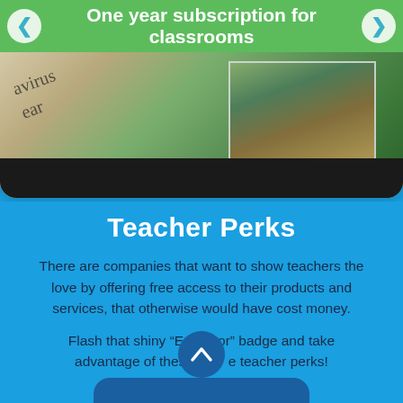[Figure (screenshot): Screenshot of a website showing a slider with 'One year subscription for classrooms' on a green banner with left/right navigation arrows, and a collage of newspaper and aerial photo images below, with a dark strip at the bottom.]
Teacher Perks
There are companies that want to show teachers the love by offering free access to their products and services, that otherwise would have cost money.
Flash that shiny “Educator” badge and take advantage of these free teacher perks!